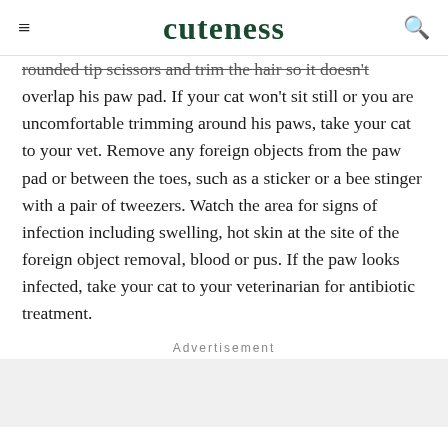cuteness
rounded tip scissors and trim the hair so it doesn't overlap his paw pad. If your cat won't sit still or you are uncomfortable trimming around his paws, take your cat to your vet. Remove any foreign objects from the paw pad or between the toes, such as a sticker or a bee stinger with a pair of tweezers. Watch the area for signs of infection including swelling, hot skin at the site of the foreign object removal, blood or pus. If the paw looks infected, take your cat to your veterinarian for antibiotic treatment.
Advertisement